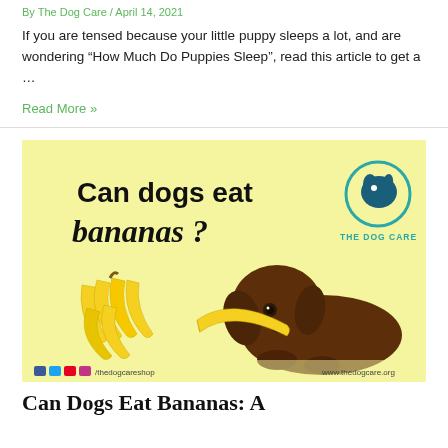By The Dog Care / April 14, 2021
If you are tensed because your little puppy sleeps a lot, and are wondering “How Much Do Puppies Sleep”, read this article to get a …
Read More »
[Figure (illustration): Promotional image for 'Can dogs eat bananas?' showing a brown puppy biting a banana, a bunch of bananas, and The Dog Care logo on a yellow background. Social media icons and website URL shown at bottom.]
Can Dogs Eat Bananas: A